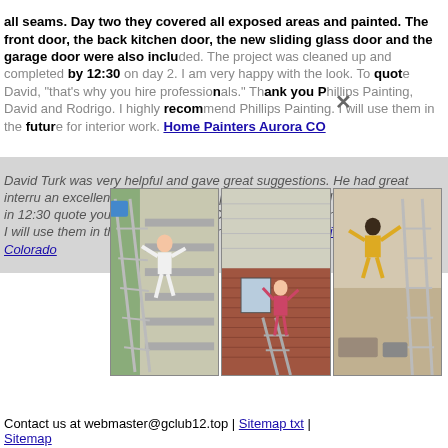all seams. Day two they covered all exposed areas and painted. The front door, the back kitchen door, the new sliding glass door and the garage door were also included. The project was cleaned up and completed by 12:30 on day 2. I am very happy with the look. To quote David, "that's why you hire professionals." Thank you Phillips Painting, David and Rodrigo. I highly recommend Phillips Painting. I will use them in the future for interior work. Home Painters Aurora CO
David Turk was very helpful and gave great suggestions. He had great interrupted an excellent Rodrigo and his helped peeling exposed all kitchen door, the were also included by 12:30 quote you Phillips and Phillips Painting. I will use them in the future for interior work. House Painting Aurora Colorado
[Figure (photo): Three photos side by side showing house painting work: left photo shows a person leaning on a ladder against a house with siding, center photo shows a house exterior with brick and a ladder, right photo shows a person working inside near equipment.]
Contact us at webmaster@gclub12.top | Sitemap txt | Sitemap